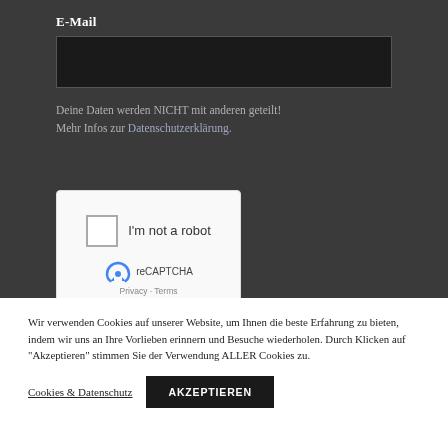E-Mail
Deine Daten werden NICHT mit anderen geteilt! Mehr Infos zur Datenschutzerklärung.
[Figure (screenshot): reCAPTCHA widget with checkbox labeled 'I'm not a robot', reCAPTCHA logo, Privacy and Terms links]
Wir verwenden Cookies auf unserer Website, um Ihnen die beste Erfahrung zu bieten, indem wir uns an Ihre Vorlieben erinnern und Besuche wiederholen. Durch Klicken auf "Akzeptieren" stimmen Sie der Verwendung ALLER Cookies zu.
Cookies & Datenschutz
AKZEPTIEREN